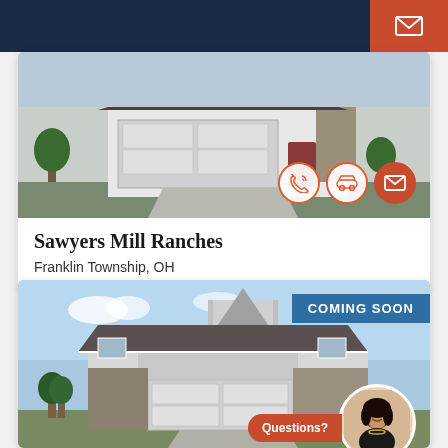[Figure (screenshot): Real estate listing page showing two property cards. First card: Sawyers Mill Ranches in Franklin Township, OH, with a house exterior photo and contact icons. Second card: Coming Soon property with a house exterior photo, agent photo, and Questions button.]
Sawyers Mill Ranches
Franklin Township, OH
COMING SOON
Questions?